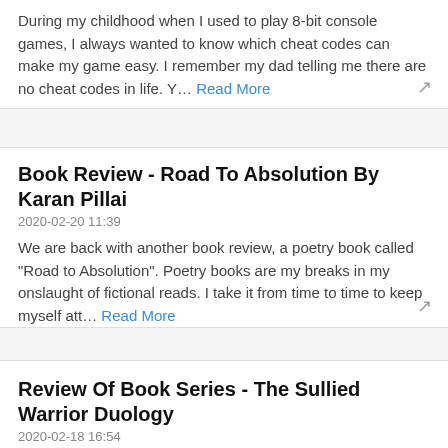During my childhood when I used to play 8-bit console games, I always wanted to know which cheat codes can make my game easy. I remember my dad telling me there are no cheat codes in life. Y… Read More
Book Review - Road To Absolution By Karan Pillai
2020-02-20 11:39
We are back with another book review, a poetry book called "Road to Absolution". Poetry books are my breaks in my onslaught of fictional reads. I take it from time to time to keep myself att… Read More
Review Of Book Series - The Sullied Warrior Duology
2020-02-18 16:54
I have seen the first part about "God of the Sullied" 3 months back and I was really impressed by cover and title. The blurb was equally interesting. I wanted to know what the book is all ab… Read More